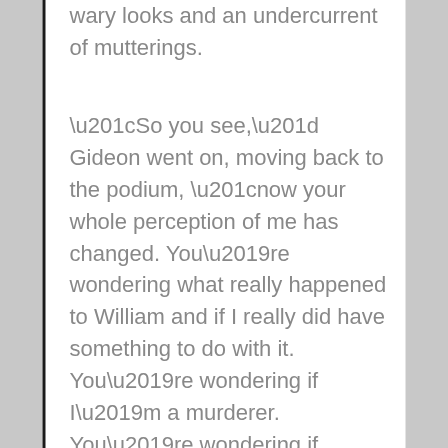wary looks and an undercurrent of mutterings.
“So you see,” Gideon went on, moving back to the podium, “now your whole perception of me has changed. You’re wondering what really happened to William and if I really did have something to do with it. You’re wondering if I’m a murderer. You’re wondering if I’m a compulsive liar. You’re wondering,” and his eyes slid over Kate, “if I’m going to kill you, too.” His gaze lingered on her again, and then a slow, faint smile spread over his face. “And